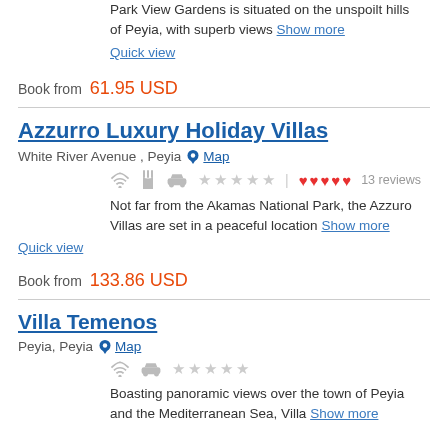Park View Gardens is situated on the unspoilt hills of Peyia, with superb views Show more
Quick view
Book from 61.95 USD
Azzurro Luxury Holiday Villas
White River Avenue , Peyia  Map
Not far from the Akamas National Park, the Azzuro Villas are set in a peaceful location Show more
Quick view
Book from 133.86 USD
Villa Temenos
Peyia, Peyia  Map
Boasting panoramic views over the town of Peyia and the Mediterranean Sea, Villa Show more